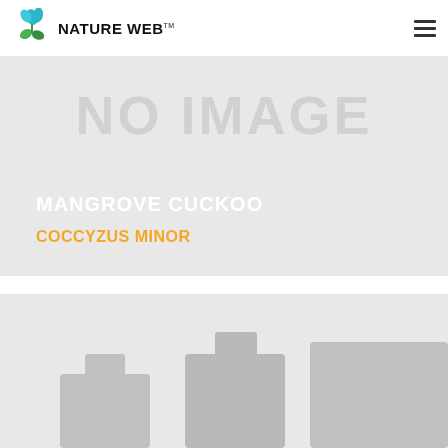NATURE WEB
[Figure (illustration): No image placeholder card with text NO IMAGE, showing species name MANGROVE CUCKOO and scientific name COCCYZUS MINOR]
MANGROVE CUCKOO
COCCYZUS MINOR
[Figure (photo): Second placeholder image card showing gray silhouette shapes at the bottom, partially visible]